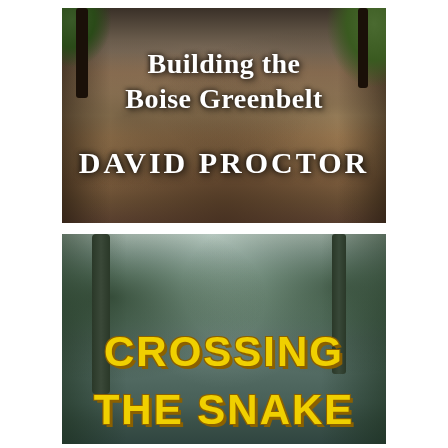[Figure (photo): Book cover for 'Building the Boise Greenbelt' by David Proctor. Shows a dirt trail/path through trees with dappled shadows. White serif text overlaid reads 'Building the Boise Greenbelt' and 'DAVID PROCTOR'.]
[Figure (photo): Book cover for 'Crossing the Snake' (partial). Shows a misty forest scene with tall trees. Bold yellow text with dark outline reads 'CROSSING THE SNAKE' (partially visible, showing 'CROSSING' and 'THE SNAKE').]